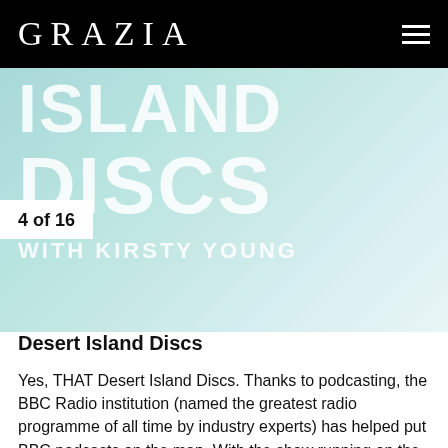GRAZIA
[Figure (illustration): Hero image with teal/mint watercolor background showing large white text: ISLAND DISCS with WITH KIRSTY YOUNG beneath, overlaid on a soft aqua wash]
4 of 16
Desert Island Discs
Yes, THAT Desert Island Discs. Thanks to podcasting, the BBC Radio institution (named the greatest radio programme of all time by industry experts) has helped put BBC podcasts on the map. With the show running on the airwaves since 1942, there's a hefty back catalogue that will keep you occupied